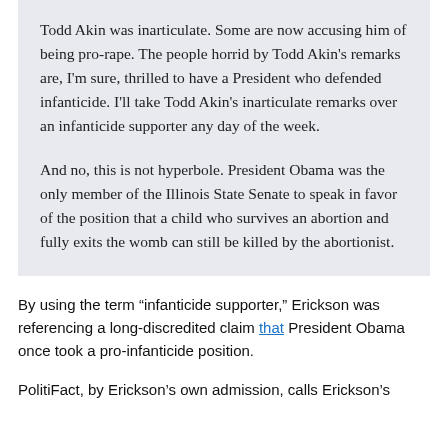Todd Akin was inarticulate. Some are now accusing him of being pro-rape. The people horrid by Todd Akin's remarks are, I'm sure, thrilled to have a President who defended infanticide. I'll take Todd Akin's inarticulate remarks over an infanticide supporter any day of the week.

And no, this is not hyperbole. President Obama was the only member of the Illinois State Senate to speak in favor of the position that a child who survives an abortion and fully exits the womb can still be killed by the abortionist.
By using the term "infanticide supporter," Erickson was referencing a long-discredited claim that President Obama once took a pro-infanticide position.
PolitiFact, by Erickson's own admission, calls Erickson's